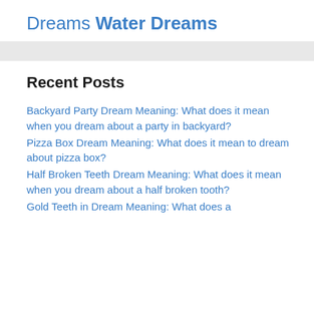Dreams Water Dreams
Recent Posts
Backyard Party Dream Meaning: What does it mean when you dream about a party in backyard?
Pizza Box Dream Meaning: What does it mean to dream about pizza box?
Half Broken Teeth Dream Meaning: What does it mean when you dream about a half broken tooth?
Gold Teeth in Dream Meaning: What does a…